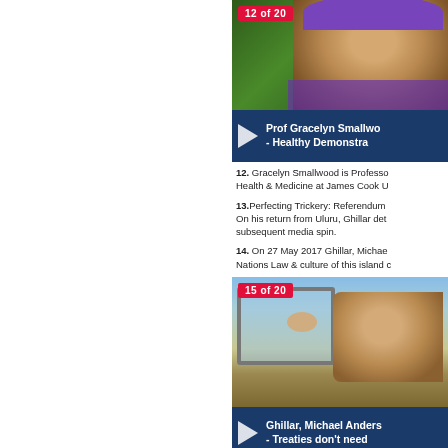[Figure (screenshot): Video thumbnail 12 of 20 showing Prof Gracelyn Smallwood - Healthy Demonstration. Shows an elderly woman outdoors with greenery, wearing a purple hat.]
12. Gracelyn Smallwood is Professor of Health & Medicine at James Cook U
13. Perfecting Trickery: Referendum ... On his return from Uluru, Ghillar details subsequent media spin.
14. On 27 May 2017 Ghillar, Michael Nations Law & culture of this island c
[Figure (screenshot): Video thumbnail 15 of 20 showing Ghillar, Michael Anderson - Treaties don't need... Shows an older man in a vehicle window.]
15. In reality what did not take place